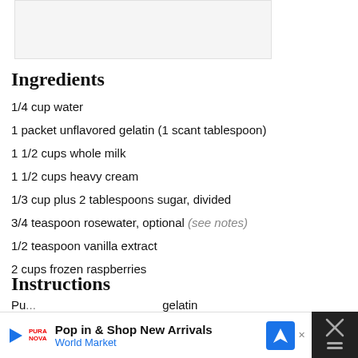[Figure (photo): Light gray placeholder image rectangle at top of page]
Ingredients
1/4 cup water
1 packet unflavored gelatin (1 scant tablespoon)
1 1/2 cups whole milk
1 1/2 cups heavy cream
1/3 cup plus 2 tablespoons sugar, divided
3/4 teaspoon rosewater, optional (see notes)
1/2 teaspoon vanilla extract
2 cups frozen raspberries
Instructions
Put... gelatin
[Figure (other): Advertisement bar: Pop in & Shop New Arrivals World Market with play button, logo, and close button]